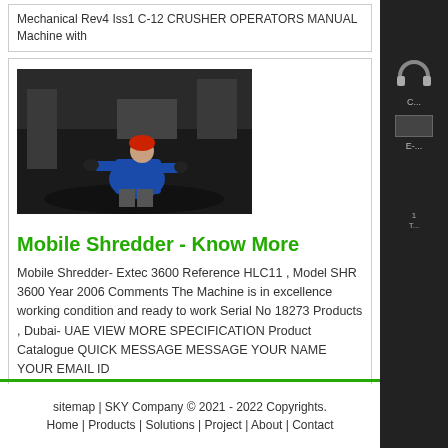Mechanical Rev4 Iss1 C-12 CRUSHER OPERATORS MANUAL Machine with
[Figure (photo): Worker in blue jacket and red hard hat operating industrial equipment in a dark industrial setting]
Mobile Shredder - Know More
Mobile Shredder- Extec 3600 Reference HLC11 , Model SHR 3600 Year 2006 Comments The Machine is in excellence working condition and ready to work Serial No 18273 Products , Dubai- UAE VIEW MORE SPECIFICATION Product Catalogue QUICK MESSAGE MESSAGE YOUR NAME YOUR EMAIL ID
Prev: analisis swot to a firm
Next: flyash supplier in jharsuguda
sitemap | SKY Company © 2021 - 2022 Copyrights.
Home | Products | Solutions | Project | About | Contact